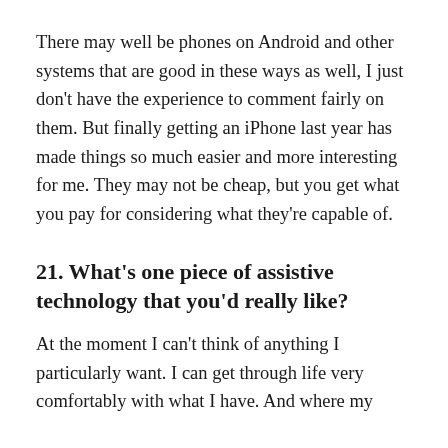There may well be phones on Android and other systems that are good in these ways as well, I just don't have the experience to comment fairly on them. But finally getting an iPhone last year has made things so much easier and more interesting for me. They may not be cheap, but you get what you pay for considering what they're capable of.
21. What's one piece of assistive technology that you'd really like?
At the moment I can't think of anything I particularly want. I can get through life very comfortably with what I have. And where my